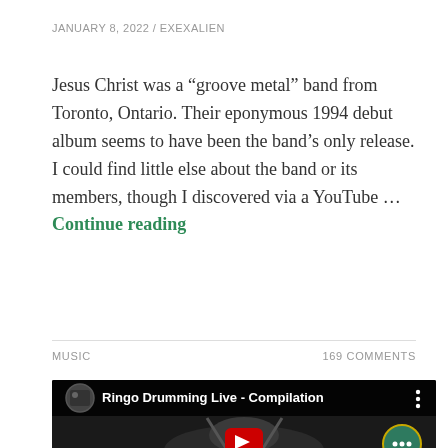JANUARY 8, 2022 / EXEXALIEN
Jesus Christ was a “groove metal” band from Toronto, Ontario. Their eponymous 1994 debut album seems to have been the band’s only release. I could find little else about the band or its members, though I discovered via a YouTube … Continue reading
MUSIC
169 COMMENTS
[Figure (screenshot): YouTube video thumbnail showing 'Ringo Drumming Live - Compilation' with a play button overlay and a person visible in the lower portion of the frame.]